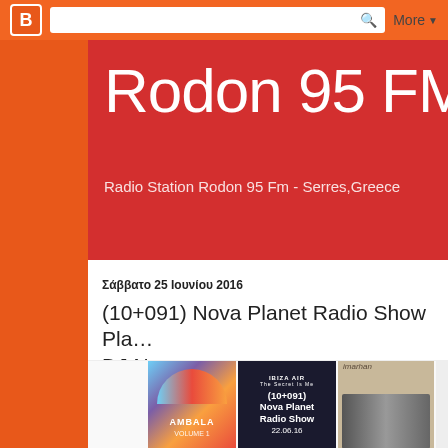Blogger navigation bar with search field and More menu
Rodon 95 FM
Radio Station Rodon 95 Fm - Serres,Greece
Σάββατο 25 Ιουνίου 2016
(10+091) Nova Planet Radio Show Pla... DJ Nova
[Figure (photo): Album art collage showing three album covers: Ambala Volume 1, Ibiza Air (10+091) Nova Planet Radio Show 22.06.16, and Imarhan]